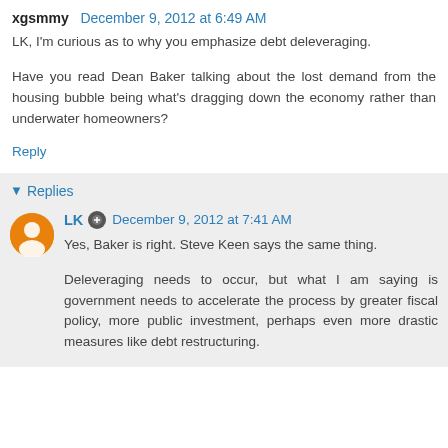xgsmmy  December 9, 2012 at 6:49 AM
LK, I'm curious as to why you emphasize debt deleveraging.
Have you read Dean Baker talking about the lost demand from the housing bubble being what's dragging down the economy rather than underwater homeowners?
Reply
Replies
LK  December 9, 2012 at 7:41 AM
Yes, Baker is right. Steve Keen says the same thing.
Deleveraging needs to occur, but what I am saying is government needs to accelerate the process by greater fiscal policy, more public investment, perhaps even more drastic measures like debt restructuring.